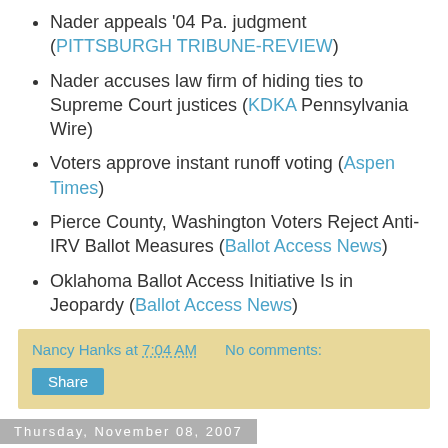Nader appeals '04 Pa. judgment (PITTSBURGH TRIBUNE-REVIEW)
Nader accuses law firm of hiding ties to Supreme Court justices (KDKA Pennsylvania Wire)
Voters approve instant runoff voting (Aspen Times)
Pierce County, Washington Voters Reject Anti-IRV Ballot Measures (Ballot Access News)
Oklahoma Ballot Access Initiative Is in Jeopardy (Ballot Access News)
Nancy Hanks at 7:04 AM   No comments:
Share
Thursday, November 08, 2007
[Figure (photo): Dark blue image, partially visible at bottom of page]